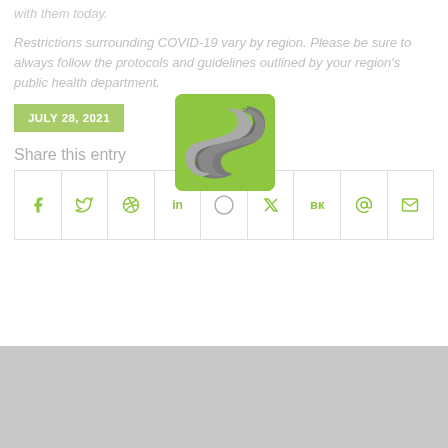with them today.
Restrictions surrounding COVID-19 vary by region. Please be sure to always follow the protocols and guidelines outlined by your region's public health department.
JULY 28, 2021
[Figure (logo): Green and gray stylized S logo on green rounded square background]
Share this entry
[Figure (infographic): Social share bar with icons: Facebook, Twitter, Pinterest, LinkedIn, circle (loading?), Tumblr, VK, Instagram/Reddit, Email]